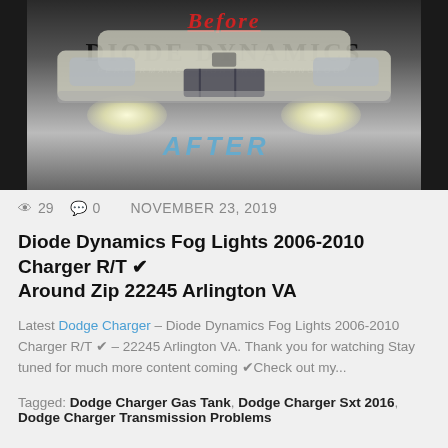[Figure (photo): Before/After comparison photo of a Dodge Charger with Diode Dynamics fog lights upgrade. Shows the front of a silver/white Dodge Charger with bright LED headlights. 'BEFORE' text in red italic at top, 'AFTER' in blue italic at bottom. Diode Dynamics logo and 'Performance Lighting Technology' subtitle visible.]
👁 29   💬 0   NOVEMBER 23, 2019
Diode Dynamics Fog Lights 2006-2010 Charger R/T ✔ Around Zip 22245 Arlington VA
Latest Dodge Charger – Diode Dynamics Fog Lights 2006-2010 Charger R/T ✔ – 22245 Arlington VA. Thank you for watching Stay tuned for much more content coming ✔Check out my...
Tagged: Dodge Charger Gas Tank, Dodge Charger Sxt 2016, Dodge Charger Transmission Problems